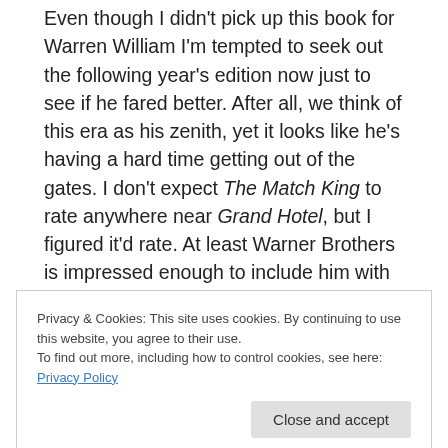Even though I didn't pick up this book for Warren William I'm tempted to seek out the following year's edition now just to see if he fared better. After all, we think of this era as his zenith, yet it looks like he's having a hard time getting out of the gates. I don't expect The Match King to rate anywhere near Grand Hotel, but I figured it'd rate. At least Warner Brothers is impressed enough to include him with their top 16 moving forward.
This leads my mind to wonder how the typical Warren William pre-code film played in the big city
Privacy & Cookies: This site uses cookies. By continuing to use this website, you agree to their use.
To find out more, including how to control cookies, see here: Privacy Policy
imagine that's very possible but completely allow